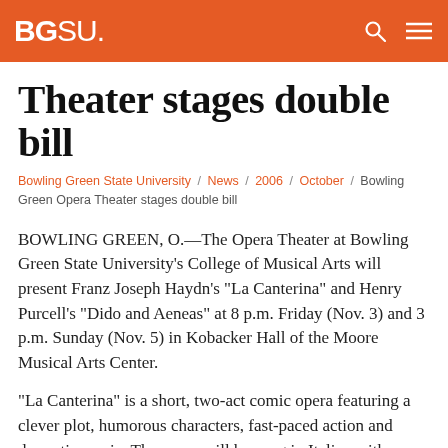BGSU
Theater stages double bill
Bowling Green State University / News / 2006 / October / Bowling Green Opera Theater stages double bill
BOWLING GREEN, O.—The Opera Theater at Bowling Green State University's College of Musical Arts will present Franz Joseph Haydn's "La Canterina" and Henry Purcell's "Dido and Aeneas" at 8 p.m. Friday (Nov. 3) and 3 p.m. Sunday (Nov. 5) in Kobacker Hall of the Moore Musical Arts Center.
"La Canterina" is a short, two-act comic opera featuring a clever plot, humorous characters, fast-paced action and dramatic music. The opera will be sung in Italian with English supertitles.